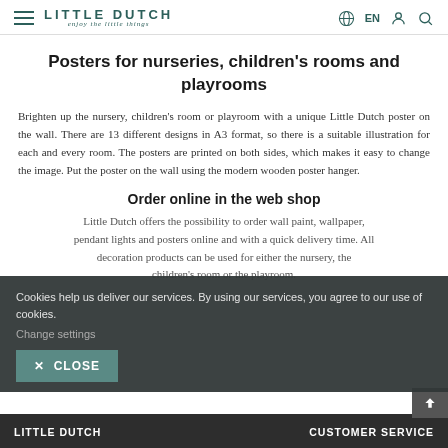LITTLE DUTCH — enjoy the little things | EN
Posters for nurseries, children's rooms and playrooms
Brighten up the nursery, children's room or playroom with a unique Little Dutch poster on the wall. There are 13 different designs in A3 format, so there is a suitable illustration for each and every room. The posters are printed on both sides, which makes it easy to change the image. Put the poster on the wall using the modern wooden poster hanger.
Order online in the web shop
Little Dutch offers the possibility to order wall paint, wallpaper, pendant lights and posters online and with a quick delivery time. All decoration products can be used for either the nursery, the children's room or the playroom.
Cookies help us deliver our services. By using our services, you agree to our use of cookies.
Change settings
✕ CLOSE
LITTLE DUTCH | CUSTOMER SERVICE